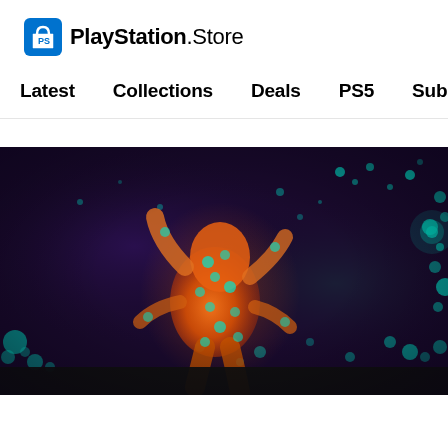[Figure (logo): PlayStation Store logo with blue shopping bag icon and PlayStation.Store wordmark]
Latest   Collections   Deals   PS5   Subscriptions >
[Figure (screenshot): PlayStation Store hero banner showing a dark purple background with an orange creature/character and teal glowing elements scattered throughout]